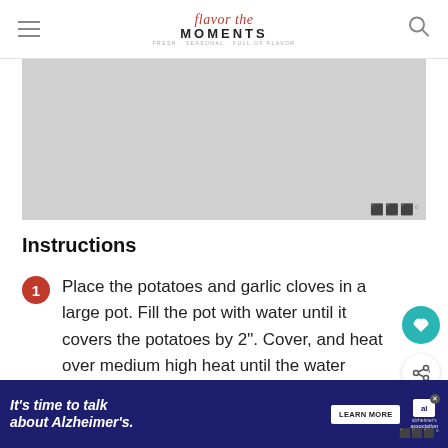Flavor the Moments — Fresh. Seasonal. Full of Flavor.
[Figure (photo): Gray placeholder image area with Mediavine badge in bottom right]
Instructions
1. Place the potatoes and garlic cloves in a large pot. Fill the pot with water until it covers the potatoes by 2". Cover, and heat over medium high heat until the water comes to a boil. Remove the lid, reduce the heat to medium, and simmer until the potatoes are tender, about 15
[Figure (infographic): What's Next widget: Deviled Eggs with Bacon]
[Figure (infographic): Advertisement: It's time to talk about Alzheimer's. Learn More. Alzheimer's Association.]